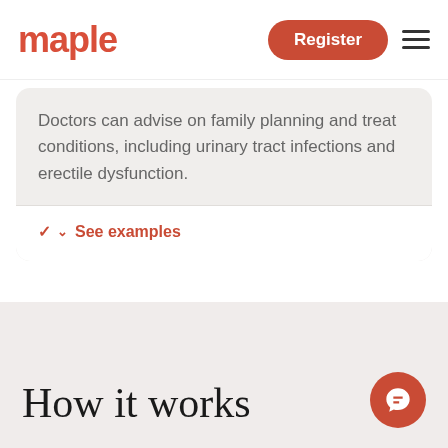maple | Register
Doctors can advise on family planning and treat conditions, including urinary tract infections and erectile dysfunction.
See examples
How it works